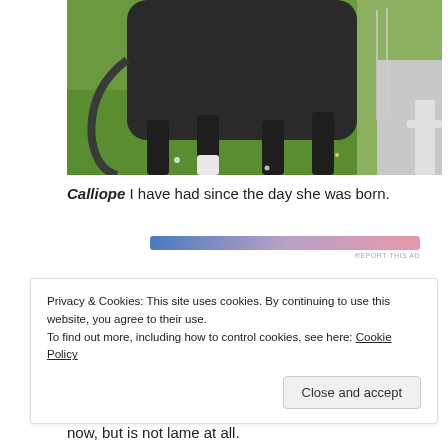[Figure (photo): Photo of a dark horse standing on green grass, partial view showing the body and legs, with a fence and road visible in the background.]
Calliope I have had since the day she was born.
[Figure (infographic): Horizontal gradient bar from blue to pink, with 'REPORT THIS AD' text below on the right.]
Privacy & Cookies: This site uses cookies. By continuing to use this website, you agree to their use.
To find out more, including how to control cookies, see here: Cookie Policy
Close and accept
now, but is not lame at all.